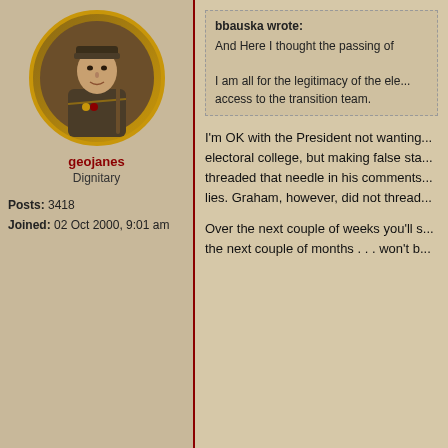[Figure (illustration): Avatar of user geojanes — oval portrait of a military officer in uniform with rifle, gold oval frame]
geojanes
Dignitary
Posts: 3418
Joined: 02 Oct 2000, 9:01 am
bbauska wrote:
And Here I thought the passing of
I am all for the legitimacy of the ele... access to the transition team.
I'm OK with the President not wanting... electoral college, but making false sta... threaded that needle in his comments... lies. Graham, however, did not thread...

Over the next couple of weeks you'll s... the next couple of months . . . won't b...
[Figure (illustration): Avatar of user freeman3 — oval portrait of a Civil War soldier playing bugle, gold oval frame]
freeman3
Adjutant
10 Nov 2020, 4:38 pm
From oral argument, it doesnt appear... even a very significant argument that... insurance.